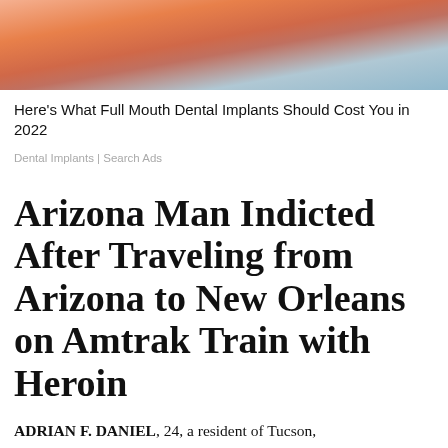[Figure (photo): Cropped photo of a person smiling, showing teeth, with colorful background — used as advertisement image for dental implants]
Here's What Full Mouth Dental Implants Should Cost You in 2022
Dental Implants | Search Ads
Arizona Man Indicted After Traveling from Arizona to New Orleans on Amtrak Train with Heroin
ADRIAN F. DANIEL, 24, a resident of Tucson,